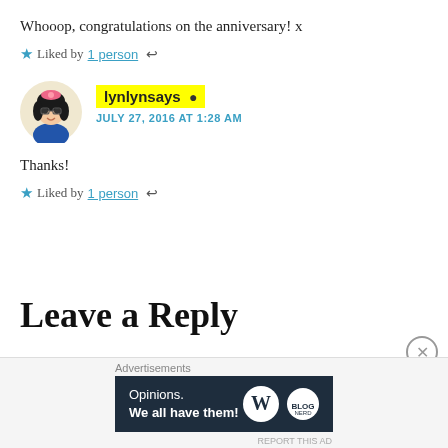Whooop, congratulations on the anniversary! x
★ Liked by 1 person ↩
lynlynsays 👤 JULY 27, 2016 AT 1:28 AM
Thanks!
★ Liked by 1 person ↩
Leave a Reply
Advertisements
Opinions. We all have them!